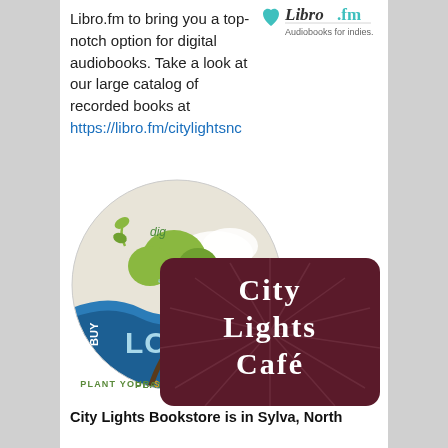Libro.fm to bring you a top-notch option for digital audiobooks. Take a look at our large catalog of recorded books at https://libro.fm/citylightsnc
[Figure (logo): Libro.fm logo with teal heart icon and text 'Libro.fm Audiobooks for indies.']
[Figure (logo): Dig Sylva Buy Local circular logo with tree and waves, text 'PLANT YOUR $ WHERE YOUR ROOTS ARE']
[Figure (logo): City Lights Café logo on dark maroon background with sunburst pattern]
City Lights Bookstore is in Sylva, North